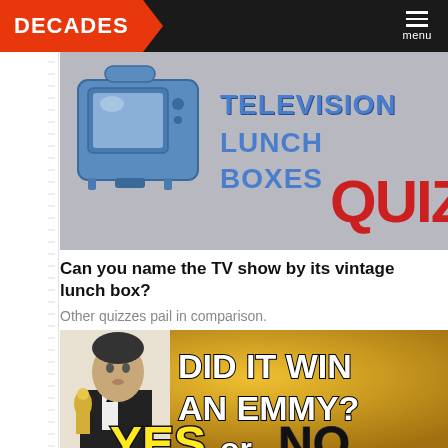DECADES | menu
[Figure (photo): Television Lunch Boxes Quiz promotional image with a blue vintage TV lunch box and text reading TELEVISION LUNCH BOXES QUIZ in blue and red letters on a gray background]
Can you name the TV show by its vintage lunch box?
Other quizzes pail in comparison.
[Figure (photo): Did It Win an Emmy? promotional image with a man in a tuxedo holding an Emmy award against a gold background, with text reading DID IT WIN AN EMMY? YES or NO]